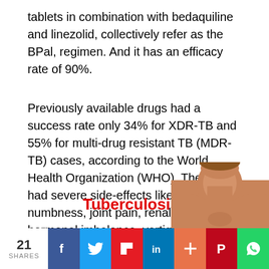tablets in combination with bedaquiline and linezolid, collectively refer as the BPal, regimen. And it has an efficacy rate of 90%.
Previously available drugs had a success rate only 34% for XDR-TB and 55% for multi-drug resistant TB (MDR-TB) cases, according to the World Health Organization (WHO). They also had severe side-effects like deafness, numbness, joint pain, renal failure hormonal imbalance, vertigo, among others.
[Figure (photo): Tuberculosis infographic image showing a person's neck/upper body with the word Tuberculosis in red text]
21 SHARES [Facebook] [Twitter] [Flipboard] [LinkedIn] [+] [Pinterest] [WhatsApp]